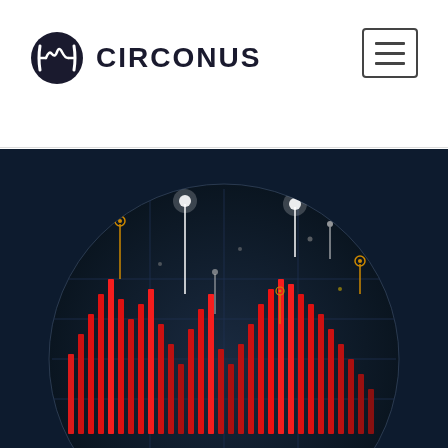CIRCONUS
[Figure (infographic): Circonus logo: circular icon with stylized signal/waveform shape in dark navy, followed by bold uppercase text CIRCONUS in dark color]
[Figure (screenshot): Dark navy background with a large circular visualization showing red vertical bar chart-like data spikes arranged in a wave pattern across the circle, with glowing white and yellow dots connected by vertical lines (like pins on a map) scattered across the upper portion of the circle. The circle has a subtle grid/crosshair overlay. The overall aesthetic is a futuristic analytics dashboard.]